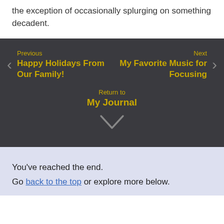the exception of occasionally splurging on something decadent.
Previous
Happy Holidays From Our Family!

Next
My Favorite Music for Focusing

Return to
My Journal
You've reached the end.
Go back to the top or explore more below.